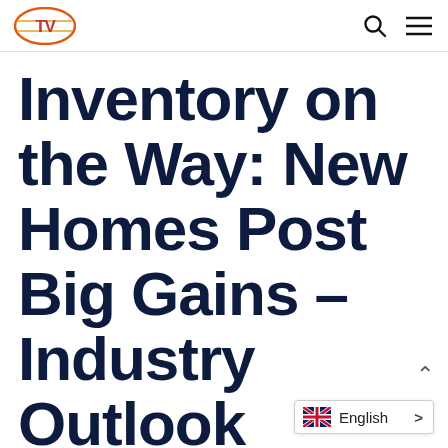Logo and navigation icons (search, menu)
Inventory on the Way: New Homes Post Big Gains – Industry Outlook